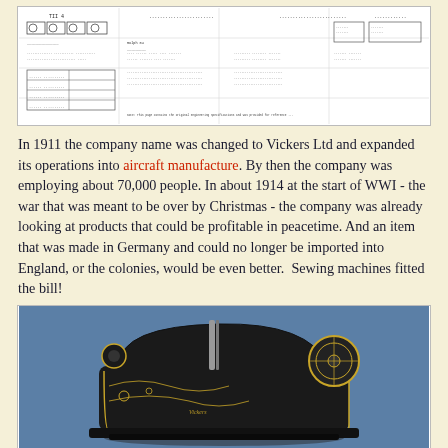[Figure (schematic): Engineering schematic or technical drawing with dense annotations, tables, and diagrams — appears to be a manufacturing or parts specification document.]
In 1911 the company name was changed to Vickers Ltd and expanded its operations into aircraft manufacture. By then the company was employing about 70,000 people. In about 1914 at the start of WWI - the war that was meant to be over by Christmas - the company was already looking at products that could be profitable in peacetime. And an item that was made in Germany and could no longer be imported into England, or the colonies, would be even better.  Sewing machines fitted the bill!
[Figure (photo): Photograph of a vintage sewing machine, black with gold decorative detailing, set against a blue background.]